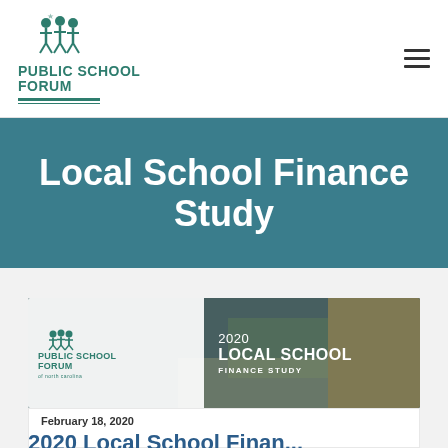PUBLIC SCHOOL FORUM
Local School Finance Study
[Figure (photo): Photo of students studying, overlaid with Public School Forum of North Carolina logo and text '2020 LOCAL SCHOOL FINANCE STUDY']
February 18, 2020
2020 Local School Finance...